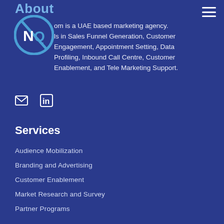About
[Figure (logo): Circular logo with stylized N and Q letters in blue and white]
om is a UAE based marketing agency. ls in Sales Funnel Generation, Customer Engagement, Appointment Setting, Data Profiling, Inbound Call Centre, Customer Enablement, and Tele Marketing Support.
[Figure (other): Email icon and LinkedIn icon social media links]
Services
Audience Mobilization
Branding and Advertising
Customer Enablement
Market Research and Survey
Partner Programs